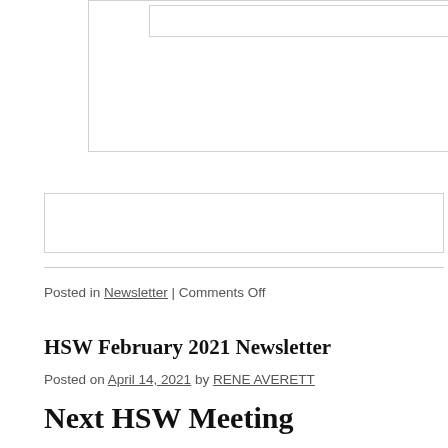[Figure (other): Top bordered box with an inner nested bordered box, representing a form or content area placeholder]
[Figure (other): Second bordered box, representing a form or content area placeholder]
Posted in Newsletter | Comments Off
HSW February 2021 Newsletter
Posted on April 14, 2021 by RENE AVERETT
Next HSW Meeting